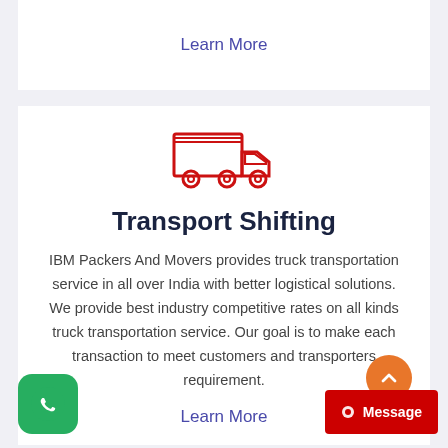Learn More
[Figure (illustration): Red outline icon of a delivery truck]
Transport Shifting
IBM Packers And Movers provides truck transportation service in all over India with better logistical solutions. We provide best industry competitive rates on all kinds truck transportation service. Our goal is to make each transaction to meet customers and transporters requirement.
Learn More